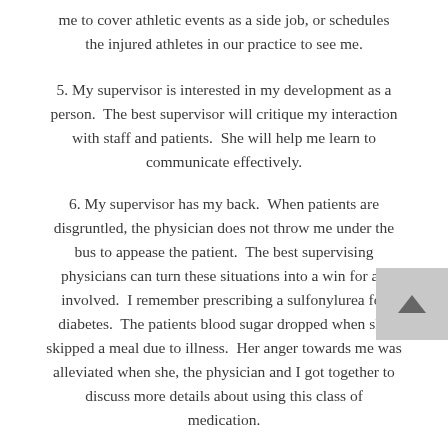me to cover athletic events as a side job, or schedules the injured athletes in our practice to see me.
5. My supervisor is interested in my development as a person.  The best supervisor will critique my interaction with staff and patients.  She will help me learn to communicate effectively.
6. My supervisor has my back.  When patients are disgruntled, the physician does not throw me under the bus to appease the patient.  The best supervising physicians can turn these situations into a win for all involved.  I remember prescribing a sulfonylurea for diabetes.  The patients blood sugar dropped when she skipped a meal due to illness.  Her anger towards me was alleviated when she, the physician and I got together to discuss more details about using this class of medication.